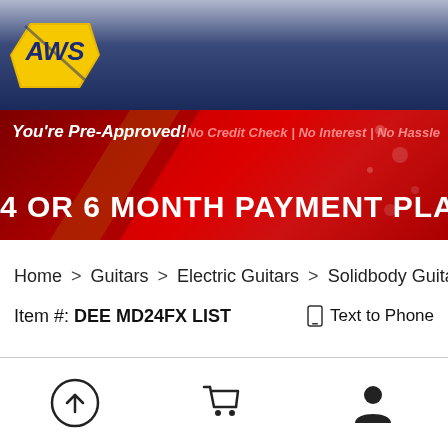[Figure (logo): AWS logo - yellow diamond shape with blue AWS letters and lightning bolt, on dark blue gradient header bar]
[Figure (infographic): Promotional banner: You're Pre-Approved! / No Credit Check | No Interest | No Hassle / 4 OR 6 MONTH PAYMENT PLANS on red background]
Home > Guitars > Electric Guitars > Solidbody Guitars
Item #: DEE MD24FX LIST
Text to Phone
[Figure (infographic): Bottom toolbar with upload/back icon, shopping cart icon, and user/account icon]